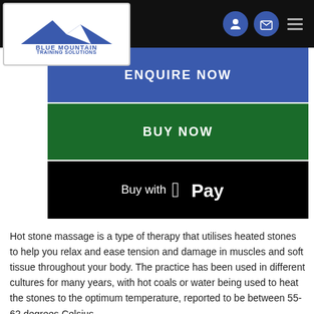Blue Mountain Training Solutions
ENQUIRE NOW
BUY NOW
Buy with Apple Pay
Hot stone massage is a type of therapy that utilises heated stones to help you relax and ease tension and damage in muscles and soft tissue throughout your body. The practice has been used in different cultures for many years, with hot coals or water being used to heat the stones to the optimum temperature, reported to be between 55-62 degrees Celsius.